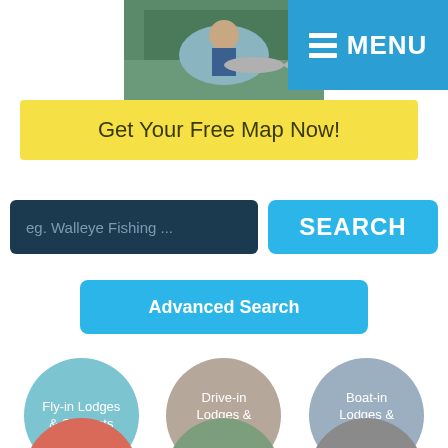[Figure (screenshot): Mobile website screenshot showing a fishing/outdoors tourism site with menu, free map banner, search bar, and category circles]
MENU
Get Your Free Map Now!
eg. Walleye Fishing ...
SEARCH
Advanced Search
Fly-in Lodges & Outposts
Drive-in Lodges & Outposts
Boat-in Lodges & Outposts
Hotels &
RV Parks &
Local